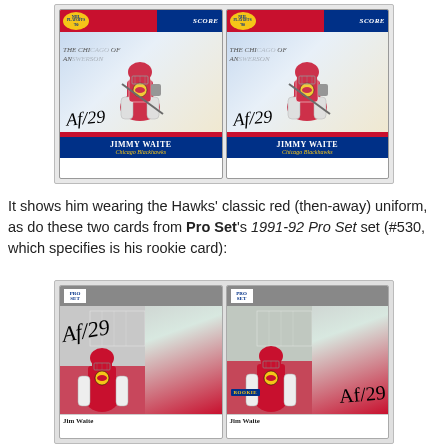[Figure (photo): Two signed Score NHL 1990 Jimmy Waite Chicago Blackhawks hockey cards side by side, both with autograph #29]
It shows him wearing the Hawks' classic red (then-away) uniform, as do these two cards from Pro Set's 1991-92 Pro Set set (#530, which specifies is his rookie card):
[Figure (photo): Two signed Pro Set NHL 1991-92 Jim Waite Chicago Blackhawks hockey cards side by side, both with autograph #29, one with ROOKIE banner]